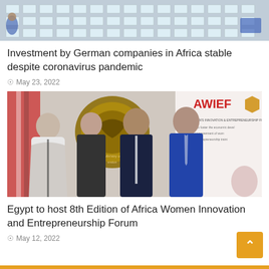[Figure (photo): Aerial view of a factory floor with workstations and equipment, shown partially at top of page]
Investment by German companies in Africa stable despite coronavirus pandemic
May 23, 2022
[Figure (photo): Group photo of four people standing in front of AWIEF banner and Egyptian ministry seal: woman in white-black jacket, woman in black dress, man in dark suit, man in blue suit with tie]
Egypt to host 8th Edition of Africa Women Innovation and Entrepreneurship Forum
May 12, 2022